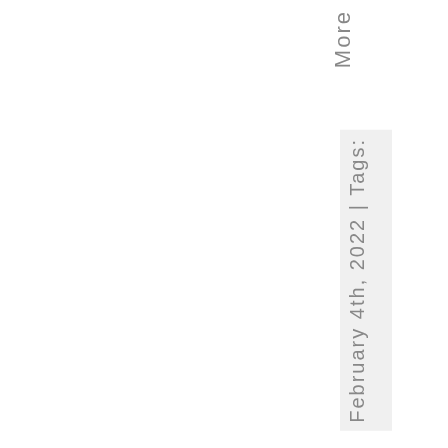More
February 4th, 2022 | Tags: